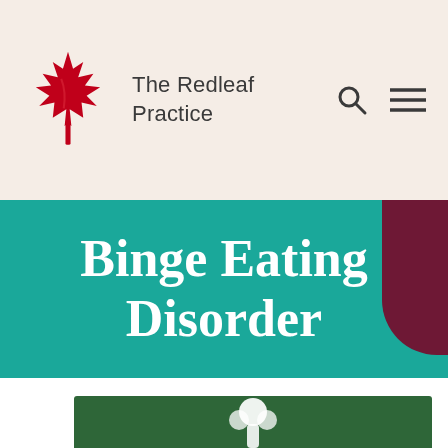The Redleaf Practice
Binge Eating Disorder
[Figure (photo): Partial view of a person on a green background, visible at bottom of page]